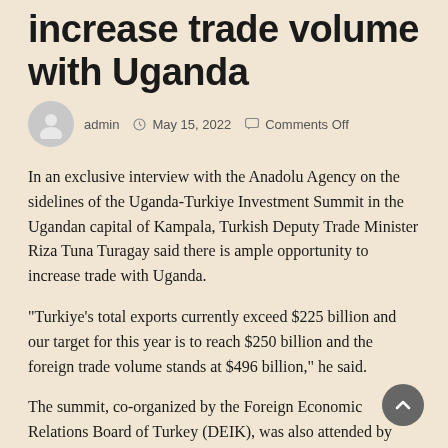increase trade volume with Uganda
admin  May 15, 2022  Comments Off
In an exclusive interview with the Anadolu Agency on the sidelines of the Uganda-Turkiye Investment Summit in the Ugandan capital of Kampala, Turkish Deputy Trade Minister Riza Tuna Turagay said there is ample opportunity to increase trade with Uganda.
"Turkiye's total exports currently exceed $225 billion and our target for this year is to reach $250 billion and the foreign trade volume stands at $496 billion," he said.
The summit, co-organized by the Foreign Economic Relations Board of Turkey (DEIK), was also attended by Ugandan President Yoweri Museveni.